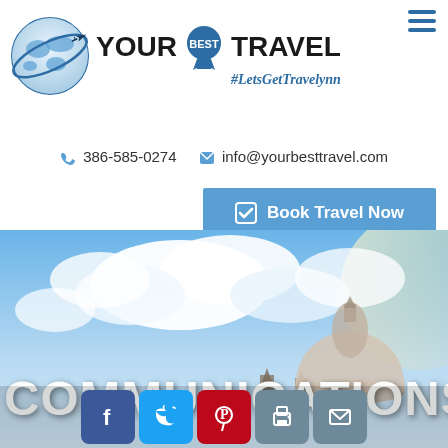YOUR BEST TRAVEL #LetsGetTravelynn
386-585-0274  info@yourbesttravel.com
Book Travel Now
[Figure (photo): Hero image of sky with clouds and a domed building, with the word COMMUNICATIONS overlaid in large white text, and social media icons (Facebook, Twitter, Pinterest, Print, Email) at the bottom.]